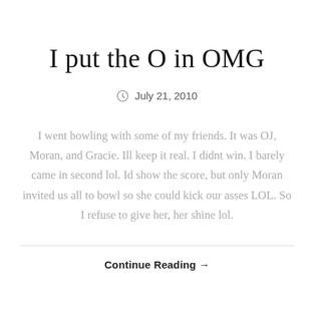I put the O in OMG
July 21, 2010
I went bowling with some of my friends. It was OJ, Moran, and Gracie. Ill keep it real. I didnt win. I barely came in second lol. Id show the score, but only Moran invited us all to bowl so she could kick our asses LOL. So I refuse to give her, her shine lol.
Continue Reading →